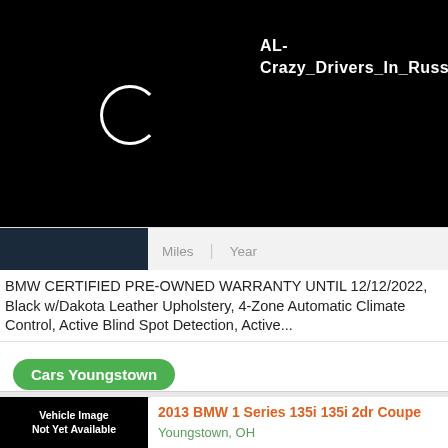[Figure (screenshot): Black screen with loading circle spinner on the left and white bold text 'AL-Crazy_Drivers_In_Russia' on the right. Bottom strip shows a dark car thumbnail with 'Miles' and 'Year' labels.]
BMW CERTIFIED PRE-OWNED WARRANTY UNTIL 12/12/2022, Black w/Dakota Leather Upholstery, 4-Zone Automatic Climate Control, Active Blind Spot Detection, Active...
Cars Youngstown
[Figure (photo): Vehicle Image Not Yet Available placeholder image showing a dark silhouette of a car]
2013 BMW 1 Series 135i 135i 2dr Coupe
Youngstown, OH
45 000 - 49 999
Miles
2013
Year
Clean CARFAX. Black 2013 BMW 1 Series 135i RWD 6-Speed Manual 3.0L I6 DOHC 24VRecent Arrival! 28/20 Highway/City MPGAwards: * 2013 KBB.com Brand Image...